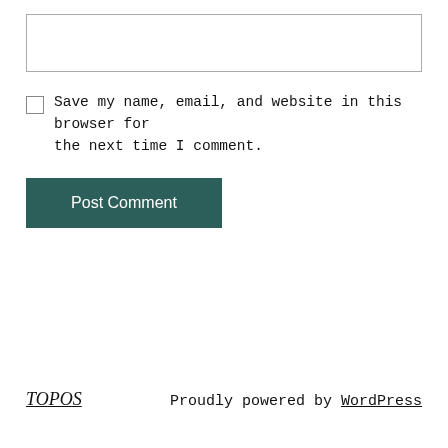[Figure (other): Empty text area input box]
Save my name, email, and website in this browser for the next time I comment.
[Figure (other): Post Comment button with dark teal background]
TOPOS   Proudly powered by WordPress